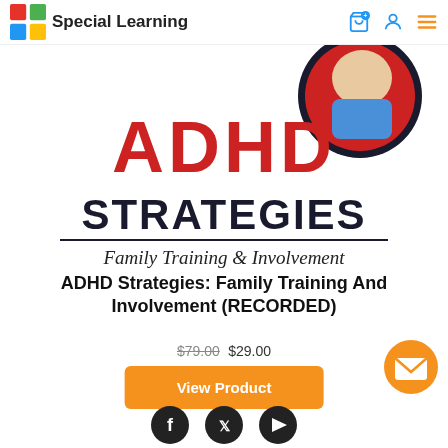Special Learning
[Figure (illustration): Product thumbnail for ADHD Strategies course showing red and dark text 'ADHD STRATEGIES' on white background with circular image of child in red at top, and text 'Family Training & Involvement' partially visible at bottom]
ADHD Strategies: Family Training And Involvement (RECORDED)
$79.00 $29.00
View Product